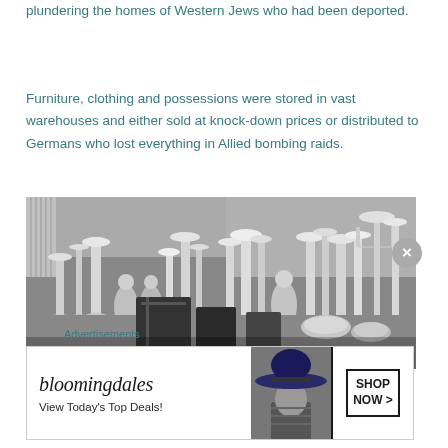plundering the homes of Western Jews who had been deported.
Furniture, clothing and possessions were stored in vast warehouses and either sold at knock-down prices or distributed to Germans who lost everything in Allied bombing raids.
[Figure (photo): Black and white photograph showing a large collection of silver candlesticks, figurines, and other silver objects crowded together on a surface in a room, appearing to be looted goods stored in a warehouse.]
Advertisements
[Figure (other): Bloomingdale's advertisement showing the logo, text 'View Today's Top Deals!' alongside a woman wearing a large brimmed hat, and a 'SHOP NOW >' button.]